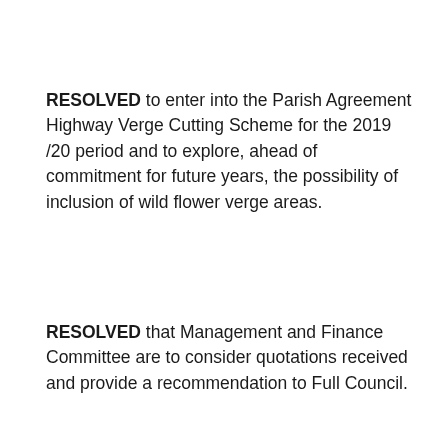RESOLVED to enter into the Parish Agreement Highway Verge Cutting Scheme for the 2019 /20 period and to explore, ahead of commitment for future years, the possibility of inclusion of wild flower verge areas.
RESOLVED that Management and Finance Committee are to consider quotations received and provide a recommendation to Full Council.